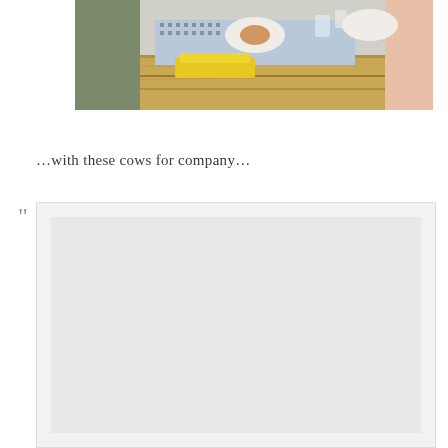[Figure (photo): People sitting at an outdoor wooden picnic table with a patterned blue/white tablecloth, food items including what appears to be a roll/bread, a yellow tray, and cups on the table. Two people visible on the left side and a person's arm visible on the right.]
…with these cows for company…
[Figure (photo): A partially visible image (mostly cropped/cut off) showing a light gray rectangular frame against a white background, representing cows for company as referenced in the caption above.]